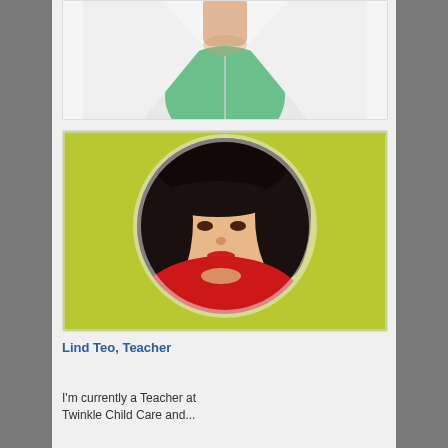[Figure (photo): Cropped photo showing neck and upper torso of a person wearing a white jacket over a green top]
[Figure (photo): Circular profile photo of a woman with black hair wearing a red jacket, against a yellow-green background]
Lind Teo, Teacher
I'm currently a Teacher at Twinkle Child Care and...